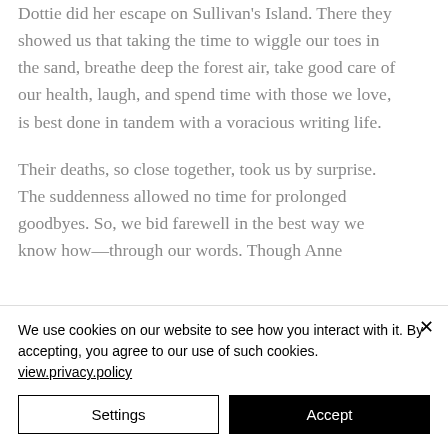Dottie did her escape on Sullivan's Island. There they showed us that taking the time to wiggle our toes in the sand, breathe deep the forest air, take good care of our health, laugh, and spend time with those we love, is best done in tandem with a voracious writing life.
Their deaths, so close together, took us by surprise. The suddenness allowed no time for prolonged goodbyes. So, we bid farewell in the best way we know how—through our words. Though Anne
We use cookies on our website to see how you interact with it. By accepting, you agree to our use of such cookies. view.privacy.policy
Settings
Accept